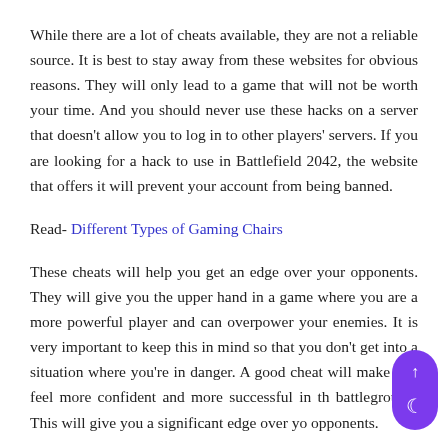While there are a lot of cheats available, they are not a reliable source. It is best to stay away from these websites for obvious reasons. They will only lead to a game that will not be worth your time. And you should never use these hacks on a server that doesn't allow you to log in to other players' servers. If you are looking for a hack to use in Battlefield 2042, the website that offers it will prevent your account from being banned.
Read- Different Types of Gaming Chairs
These cheats will help you get an edge over your opponents. They will give you the upper hand in a game where you are a more powerful player and can overpower your enemies. It is very important to keep this in mind so that you don't get into a situation where you're in danger. A good cheat will make you feel more confident and more successful in the battleground. This will give you a significant edge over your opponents.